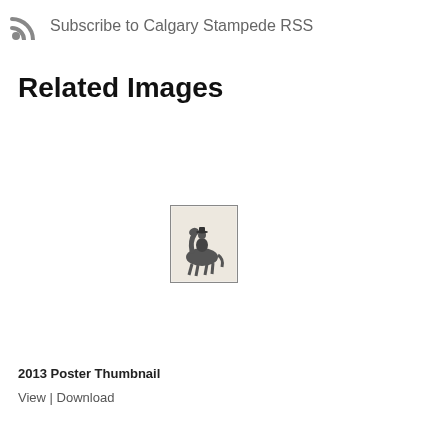Subscribe to Calgary Stampede RSS
Related Images
[Figure (photo): Thumbnail image of a cowboy on horseback, black and white sketch style illustration, 2013 Poster Thumbnail]
2013 Poster Thumbnail
View | Download